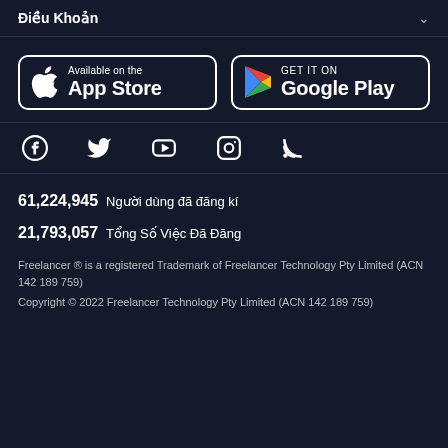Điều Khoản
[Figure (logo): App Store and Google Play download buttons]
[Figure (infographic): Social media icons: Facebook, Twitter, YouTube, Instagram, RSS]
61,224,945  Người dùng đã đăng kí
21,793,057  Tổng Số Việc Đã Đăng
Freelancer ® is a registered Trademark of Freelancer Technology Pty Limited (ACN 142 189 759)
Copyright © 2022 Freelancer Technology Pty Limited (ACN 142 189 759)